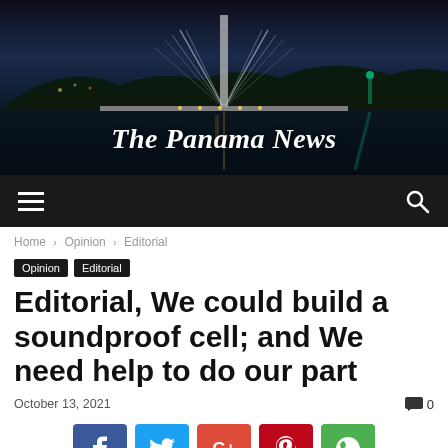[Figure (photo): The Panama News website header showing a nighttime bridge scene over water with city lights reflected]
The Panama News
≡   🔍
Home › Opinion › Editorial
Opinion  Editorial
Editorial, We could build a soundproof cell; and We need help to do our part
October 13, 2021   💬 0
[Figure (infographic): Social sharing buttons: Facebook (f), Twitter (bird), Google+ (G+), Pinterest (p), WhatsApp (phone)]
[Figure (photo): Bottom partial image strip, dark tones]